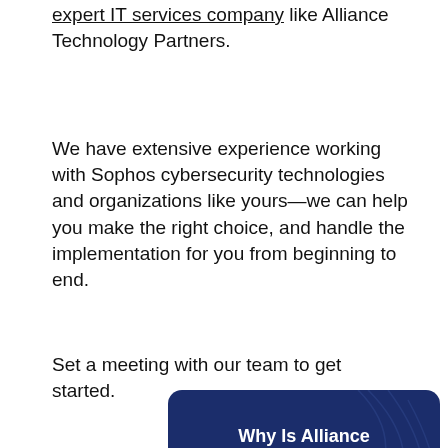expert IT services company like Alliance Technology Partners.
We have extensive experience working with Sophos cybersecurity technologies and organizations like yours—we can help you make the right choice, and handle the implementation for you from beginning to end.
Set a meeting with our team to get started.
[Figure (infographic): Dark navy blue rounded rectangle banner with decorative swirl/circuit lines, containing bold white text: 'Why Is Alliance Technology Partners The Best Choice For All Your Business Technology Services?']